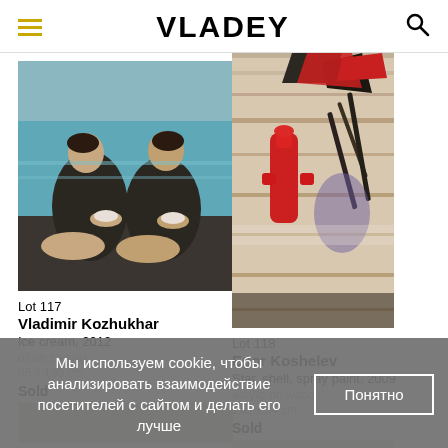VLADEY
[Figure (photo): Painting of two women in black swimsuits by a pool, eating ice cream. Oil on canvas, monochrome with blue background.]
[Figure (photo): Abstract painting with red and colorful shapes on wood panel, partially visible from top.]
Lot 117
Vladimir Kozhukhar
Ice cream, 2012
oil on canvas
95 x 130 cm
Sold
Lot 118
Egor Koshelev
Star, shell, spray paint, 2009
acrylic on wood
160 x 54 cm
Sold
Мы используем cookie, чтобы анализировать взаимодействие посетителей с сайтом и делать его лучше
Понятно